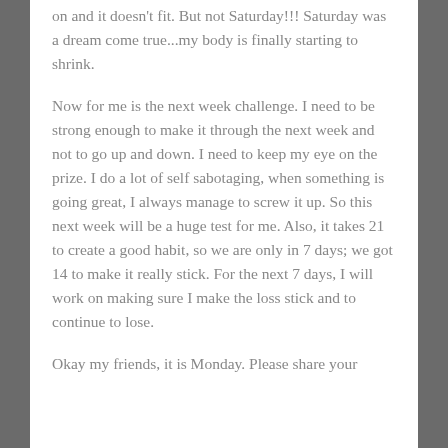on and it doesn't fit.  But not Saturday!!!  Saturday was a dream come true...my body is finally starting to shrink.
Now for me is the next week challenge.  I need to be strong enough to make it through the next week and not to go up and down.  I need to keep my eye on the prize.  I do a lot of self sabotaging, when something is going great, I always manage to screw it up.  So this next week will be a huge test for me.  Also, it takes 21 to create a good habit, so we are only in 7 days; we got 14 to make it really stick.  For the next 7 days, I will work on making sure I make the loss stick and to continue to lose.
Okay my friends, it is Monday.  Please share your